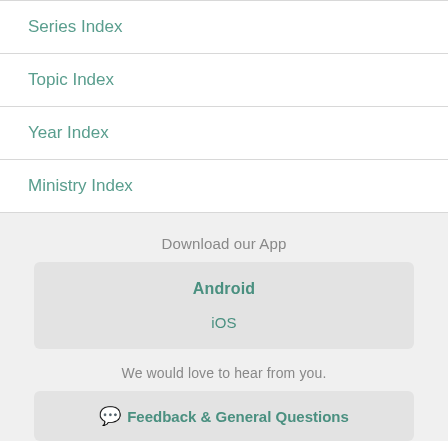Series Index
Topic Index
Year Index
Ministry Index
Download our App
Android
iOS
We would love to hear from you.
Feedback & General Questions